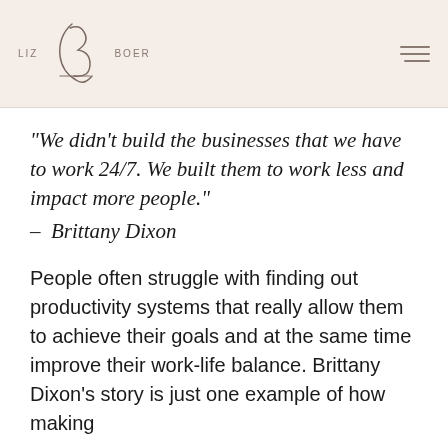LIZ BOER
“We didn’t build the businesses that we have to work 24/7. We built them to work less and impact more people.” – Brittany Dixon
People often struggle with finding out productivity systems that really allow them to achieve their goals and at the same time improve their work-life balance. Brittany Dixon’s story is just one example of how making